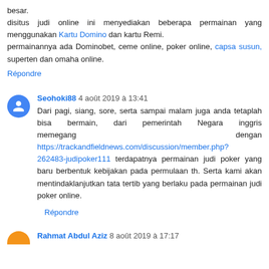besar.
disitus judi online ini menyediakan beberapa permainan yang menggunakan Kartu Domino dan kartu Remi.
permainannya ada Dominobet, ceme online, poker online, capsa susun, superten dan omaha online.
Répondre
Seohoki88 4 août 2019 à 13:41
Dari pagi, siang, sore, serta sampai malam juga anda tetaplah bisa bermain, dari pemerintah Negara inggris memegang dengan https://trackandfieldnews.com/discussion/member.php?262483-judipoker111 terdapatnya permainan judi poker yang baru berbentuk kebijakan pada permulaan th. Serta kami akan mentindaklanjutkan tata tertib yang berlaku pada permainan judi poker online.
Répondre
Rahmat Abdul Aziz 8 août 2019 à 17:17